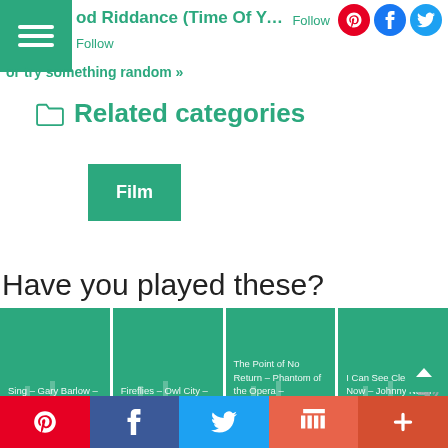Good Riddance (Time Of Your Life) – Green Day  Follow
or try something random »
Related categories
Film
Have you played these?
[Figure (screenshot): Sing – Gary Barlow – NoobNotes.net – Play now, theory later!]
[Figure (screenshot): Fireflies – Owl City – NoobNotes.net – Play now, theory later!]
[Figure (screenshot): The Point of No Return – Phantom of the Opera – NoobNotes.net – Play now, theory later!]
[Figure (screenshot): I Can See Clearly Now – Johnny Nash – NoobNotes.net – Play now, theory later!]
Pinterest | Facebook | Twitter | Mix | +